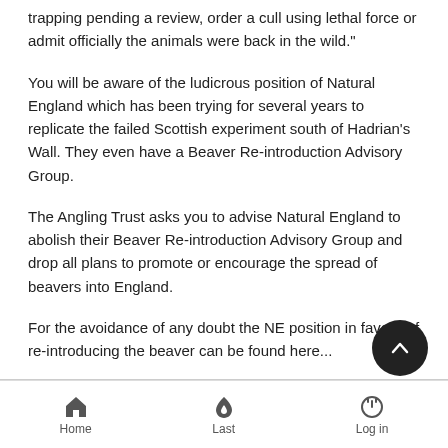trapping pending a review, order a cull using lethal force or admit officially the animals were back in the wild."
You will be aware of the ludicrous position of Natural England which has been trying for several years to replicate the failed Scottish experiment south of Hadrian's Wall. They even have a Beaver Re-introduction Advisory Group.
The Angling Trust asks you to advise Natural England to abolish their Beaver Re-introduction Advisory Group and drop all plans to promote or encourage the spread of beavers into England.
For the avoidance of any doubt the NE position in favour of re-introducing the beaver can be found here...
http://publications.naturalengland.org.uk/publication/45000